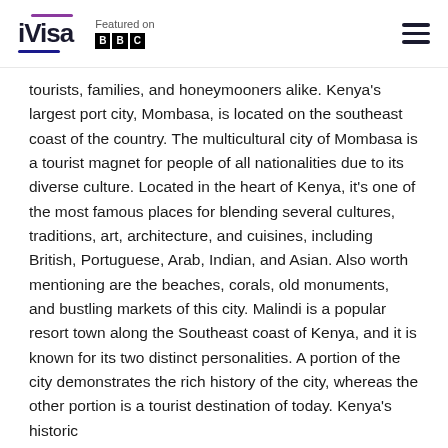iVisa | Featured on BBC
tourists, families, and honeymooners alike. Kenya's largest port city, Mombasa, is located on the southeast coast of the country. The multicultural city of Mombasa is a tourist magnet for people of all nationalities due to its diverse culture. Located in the heart of Kenya, it's one of the most famous places for blending several cultures, traditions, art, architecture, and cuisines, including British, Portuguese, Arab, Indian, and Asian. Also worth mentioning are the beaches, corals, old monuments, and bustling markets of this city. Malindi is a popular resort town along the Southeast coast of Kenya, and it is known for its two distinct personalities. A portion of the city demonstrates the rich history of the city, whereas the other portion is a tourist destination of today. Kenya's historic